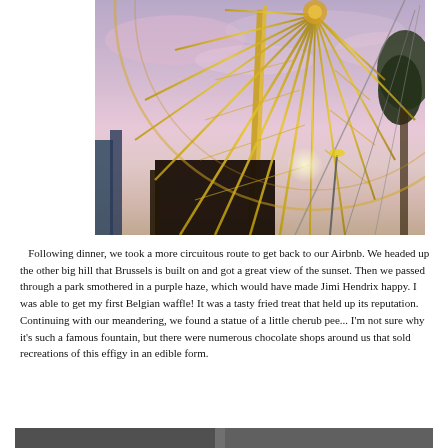[Figure (photo): Upward-angle photograph of a large Ferris wheel structure with yellow/gold metal frame lit up, against a pink and purple sunset sky, with a tree visible on the right.]
Following dinner, we took a more circuitous route to get back to our Airbnb. We headed up the other big hill that Brussels is built on and got a great view of the sunset. Then we passed through a park smothered in a purple haze, which would have made Jimi Hendrix happy. I was able to get my first Belgian waffle! It was a tasty fried treat that held up its reputation. Continuing with our meandering, we found a statue of a little cherub peeing. I'm not sure why it's such a famous fountain, but there were numerous chocolate shops around us that sold recreations of this effigy in an edible form.
[Figure (photo): Bottom portion of a photograph partially visible at the bottom edge of the page.]